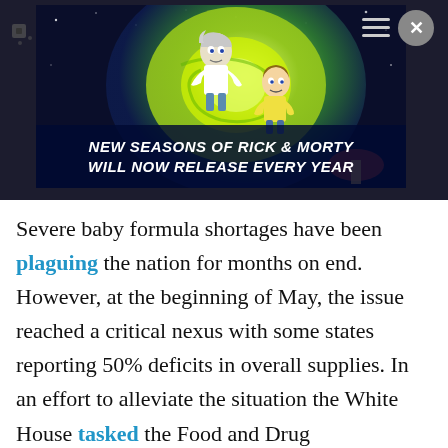[Figure (screenshot): Rick and Morty animated show advertisement with text 'NEW SEASONS OF RICK & MORTY WILL NOW RELEASE EVERY YEAR' on a colorful cosmic background. Overlaid on a webpage with dark background, close (X) button top right, and a hamburger menu icon.]
Severe baby formula shortages have been plaguing the nation for months on end. However, at the beginning of May, the issue reached a critical nexus with some states reporting 50% deficits in overall supplies. In an effort to alleviate the situation the White House tasked the Food and Drug Administration (FDA) to assist companies in ramping up production to replenish supplies more quickly. Even though there is now a concentrated focus on restoring depleted supplies, it may still not be enough. CNBC